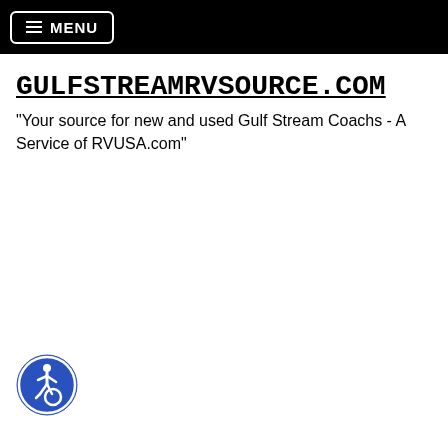MENU
GULFSTREAMRVSOURCE.COM
"Your source for new and used Gulf Stream Coachs - A Service of RVUSA.com"
[Figure (illustration): Accessibility icon: blue circle with white wheelchair symbol]